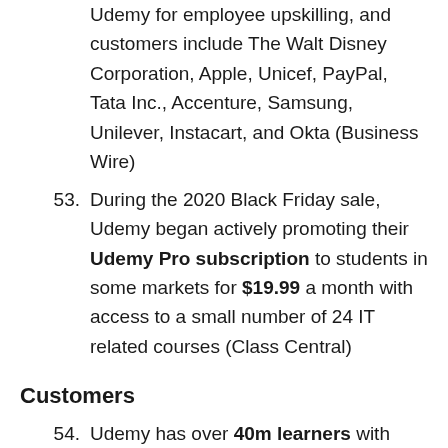Udemy for employee upskilling, and customers include The Walt Disney Corporation, Apple, Unicef, PayPal, Tata Inc., Accenture, Samsung, Unilever, Instacart, and Okta (Business Wire)
During the 2020 Black Friday sale, Udemy began actively promoting their Udemy Pro subscription to students in some markets for $19.99 a month with access to a small number of 24 IT related courses (Class Central)
Customers
Udemy has over 40m learners with